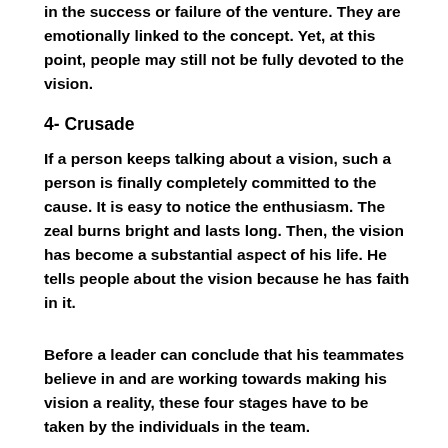in the success or failure of the venture. They are emotionally linked to the concept. Yet, at this point, people may still not be fully devoted to the vision.
4- Crusade
If a person keeps talking about a vision, such a person is finally completely committed to the cause. It is easy to notice the enthusiasm. The zeal burns bright and lasts long. Then, the vision has become a substantial aspect of his life. He tells people about the vision because he has faith in it.
Before a leader can conclude that his teammates believe in and are working towards making his vision a reality, these four stages have to be taken by the individuals in the team.